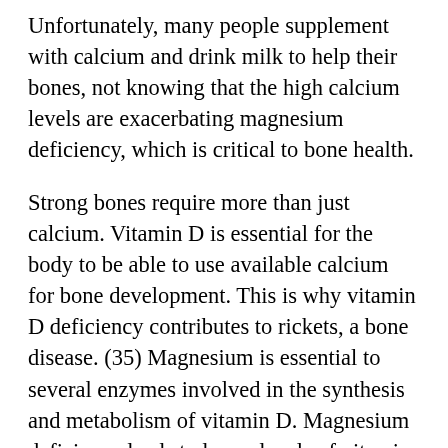Unfortunately, many people supplement with calcium and drink milk to help their bones, not knowing that the high calcium levels are exacerbating magnesium deficiency, which is critical to bone health.
Strong bones require more than just calcium. Vitamin D is essential for the body to be able to use available calcium for bone development. This is why vitamin D deficiency contributes to rickets, a bone disease. (35) Magnesium is essential to several enzymes involved in the synthesis and metabolism of vitamin D. Magnesium deficiency leads to lower levels of vitamin D in the body and inhibits its functions, including those involved in bone growth. (3,36) Magnesium has been shown to be important in the treatment of osteoporosis.